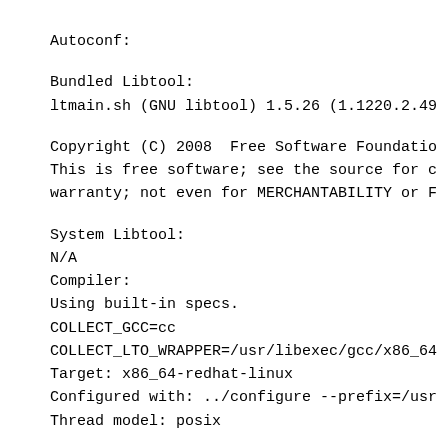Autoconf:
Bundled Libtool:
ltmain.sh (GNU libtool) 1.5.26 (1.1220.2.49
Copyright (C) 2008  Free Software Foundatio
This is free software; see the source for c
warranty; not even for MERCHANTABILITY or F
System Libtool:
N/A
Compiler:
Using built-in specs.
COLLECT_GCC=cc
COLLECT_LTO_WRAPPER=/usr/libexec/gcc/x86_64
Target: x86_64-redhat-linux
Configured with: ../configure --prefix=/usr
Thread model: posix